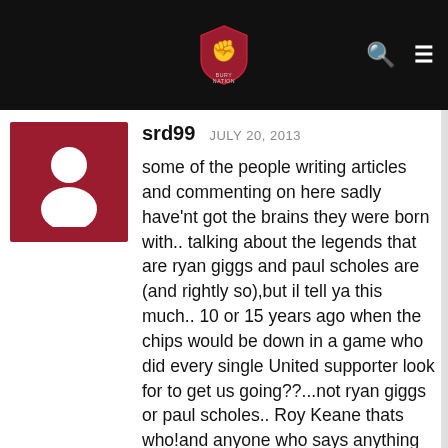BURY NATION logo with search and menu icons
srd99  JULY 20, 2013
some of the people writing articles and commenting on here sadly have'nt got the brains they were born with.. talking about the legends that are ryan giggs and paul scholes are (and rightly so),but il tell ya this much.. 10 or 15 years ago when the chips would be down in a game who did every single United supporter look for to get us going??...not ryan giggs or paul scholes.. Roy Keane thats who!and anyone who says anything else is a liar.Surely things soured when keano left but the disrespect this man is being shown is nothin short of dispicable.Remember him for the player he was and not for what came after